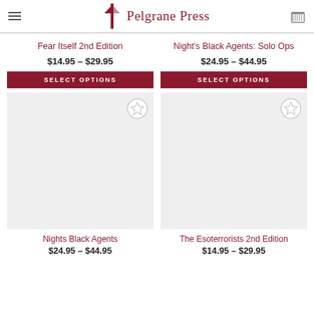Pelgrane Press
Fear Itself 2nd Edition
$14.95 – $29.95
SELECT OPTIONS
Night's Black Agents: Solo Ops
$24.95 – $44.95
SELECT OPTIONS
[Figure (photo): Product image placeholder for Nights Black Agents]
[Figure (photo): Product image placeholder for The Esoterrorists 2nd Edition]
Nights Black Agents
$24.95 – $44.95
The Esoterrorists 2nd Edition
$14.95 – $29.95